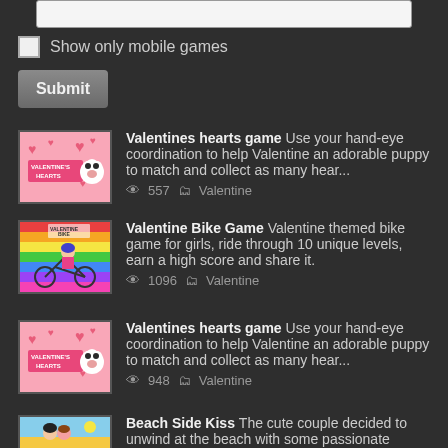[Figure (screenshot): Search input bar at top of page]
Show only mobile games
Submit
Valentines hearts game Use your hand-eye coordination to help Valentine an adorable puppy to match and collect as many hear... 557 Valentine
Valentine Bike Game Valentine themed bike game for girls, ride through 10 unique levels, earn a high score and share it. 1096 Valentine
Valentines hearts game Use your hand-eye coordination to help Valentine an adorable puppy to match and collect as many hear... 948 Valentine
Beach Side Kiss The cute couple decided to unwind at the beach with some passionate kisses. But ethics are